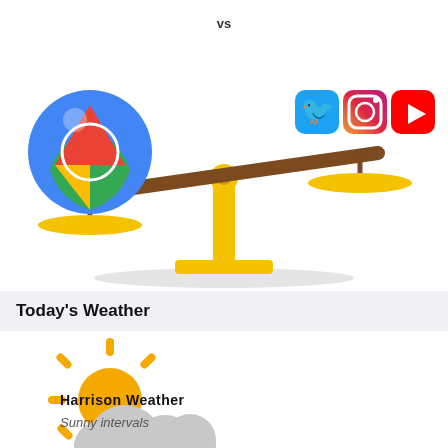[Figure (illustration): A balance scale illustration. The left pan holds a Google Maps app icon (large colorful globe). The right pan holds Twitter, Instagram, and YouTube app icons (smaller). The scale tips left, indicating Google Maps is heavier. The scale beam is brown, the fulcrum and pans are yellow.]
Today's Weather
[Figure (illustration): A weather icon showing a partly cloudy day: a yellow sun with rays peeking behind a large grey-white cloud.]
Harrison Weather
Sunny intervals